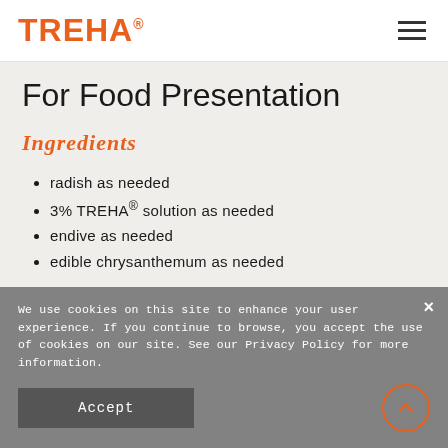TREHA®
For Food Presentation
Ingredients
radish as needed
3% TREHA® solution as needed
endive as needed
edible chrysanthemum as needed
We use cookies on this site to enhance your user experience. If you continue to browse, you accept the use of cookies on our site. See our Privacy Policy for more information.